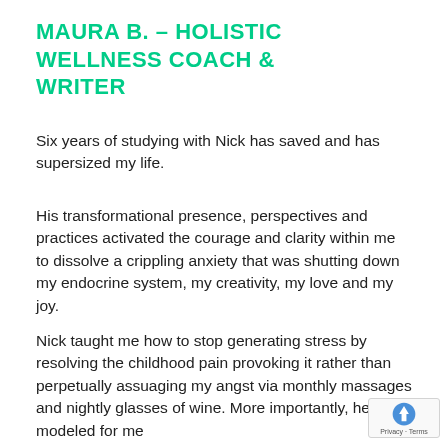MAURA B. – HOLISTIC WELLNESS COACH & WRITER
Six years of studying with Nick has saved and has supersized my life.
His transformational presence, perspectives and practices activated the courage and clarity within me to dissolve a crippling anxiety that was shutting down my endocrine system, my creativity, my love and my joy.
Nick taught me how to stop generating stress by resolving the childhood pain provoking it rather than perpetually assuaging my angst via monthly massages and nightly glasses of wine. More importantly, he modeled for me